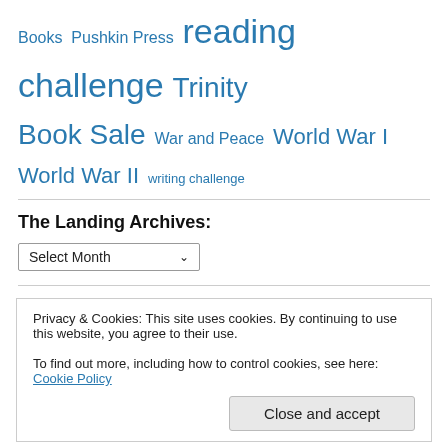Books Pushkin Press reading challenge Trinity Book Sale War and Peace World War I World War II writing challenge
The Landing Archives:
Select Month
On the Landing Book Shelves:
Select Category
Privacy & Cookies: This site uses cookies. By continuing to use this website, you agree to their use.
To find out more, including how to control cookies, see here: Cookie Policy
Close and accept
Shelf Classics History Landing Author Loose Leaves